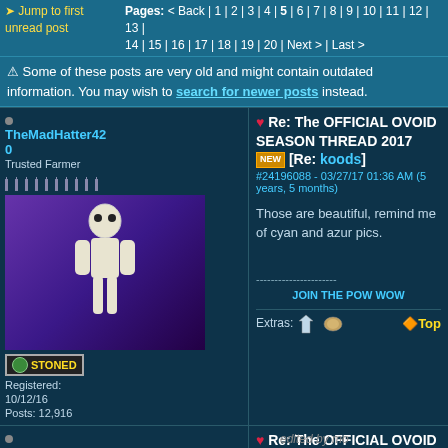Jump to first unread post | Pages: < Back | 1 | 2 | 3 | 4 | 5 | 6 | 7 | 8 | 9 | 10 | 11 | 12 | 13 | 14 | 15 | 16 | 17 | 18 | 19 | 20 | Next > | Last >
⚠ Some of these posts are very old and might contain outdated information. You may wish to search for newer posts instead.
Re: The OFFICIAL OVOID SEASON THREAD 2017 [NEW] [Re: koods]
#24196088 - 03/27/17 01:36 AM (5 years, 5 months)
TheMadHatter420 | Trusted Farmer | Registered: 10/12/16 | Posts: 12,916
Those are beautiful, remind me of cyan and azur pics.
JOIN THE POW WOW
Re: The OFFICIAL OVOID SEASON THREAD 2017 [NEW] [Re: relic] 1
#24196884 - 03/27/17 02:05 PM (5 years, 5 months)
Thayendanegea | quiet walker
edited by mo